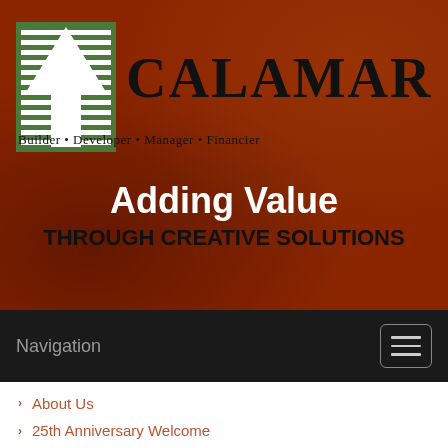[Figure (logo): Calamar company logo with tree/arrow icon and name, tagline: Builder • Developer • Manager • Financier]
Adding Value
THROUGH CREATIVE SOLUTIONS
Navigation
About Us
25th Anniversary Welcome
1990-1999
2000-2009
2010-2015